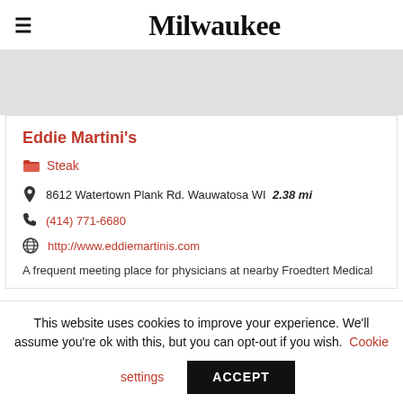Milwaukee
[Figure (other): Gray advertisement banner placeholder]
Eddie Martini's
Steak
8612 Watertown Plank Rd. Wauwatosa WI  2.38 mi
(414) 771-6680
http://www.eddiemartinis.com
A frequent meeting place for physicians at nearby Froedtert Medical
This website uses cookies to improve your experience. We'll assume you're ok with this, but you can opt-out if you wish.  Cookie settings  ACCEPT